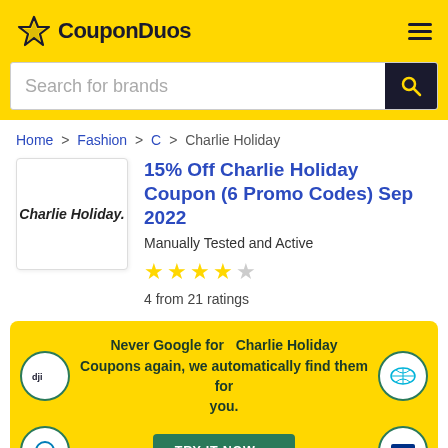CouponDuos
Search for brands
Home > Fashion > C > Charlie Holiday
15% Off Charlie Holiday Coupon (6 Promo Codes) Sep 2022
Manually Tested and Active
4 from 21 ratings
Never Google for Charlie Holiday Coupons again, we automatically find them for you.
TRY IT NOW →